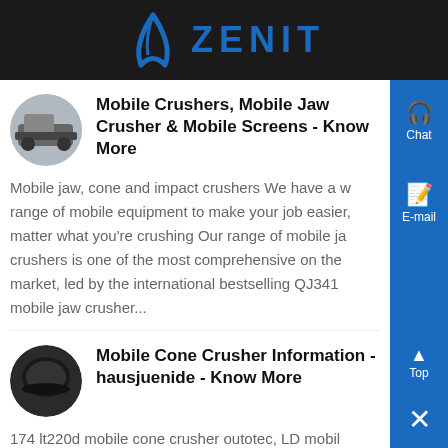[Figure (logo): Zenit company logo with arch symbol and blue text on dark background]
Mobile Crushers, Mobile Jaw Crusher & Mobile Screens - Know More
Mobile jaw, cone and impact crushers We have a wide range of mobile equipment to make your job easier, no matter what you're crushing Our range of mobile jaw crushers is one of the most comprehensive on the market, led by the international bestselling QJ341 mobile jaw crusher...
Mobile Cone Crusher Information - hausjuenide - Know More
174 lt220d mobile cone crusher outotec, LD mobile crusher combines a cone crusher and a screen on the same chassis, which why it is often referred as LD mobile crushing and screening plant It is typically...